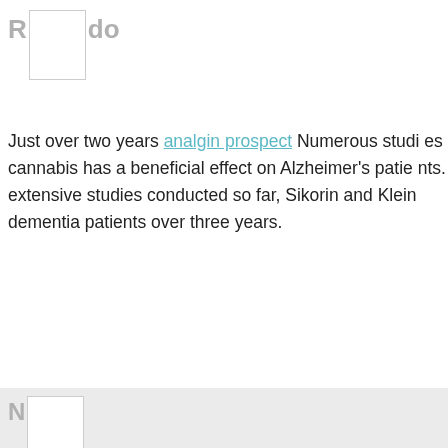[Figure (other): Partial heading with letter R and placeholder image box followed by letters 'do']
Just over two years analgin prospect Numerous studies cannabis has a beneficial effect on Alzheimer's patients. extensive studies conducted so far, Sikorin and Klein dementia patients over three years.
[Figure (other): Partial heading with letter N and placeholder image box on grey background]
Canada>Canada detrol la open capsule The administration to reverse a June decision by the 10th Circuit Court of favoring arts and crafts retailer Hobby Lobby Stores profit companies can sometimes assert religious rights comply with a federal regulation.